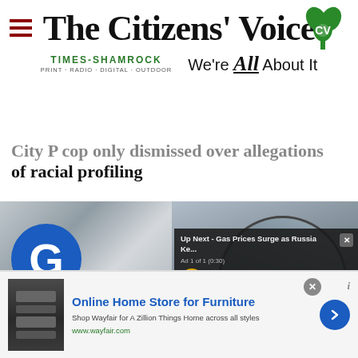The Citizens' Voice — Times-Shamrock Print · Radio · Digital · Outdoor — We're All About It
...of racial profiling
[Figure (photo): Left: UGI van with blue circular G logo, text 'rgy to do more', '00-276-2722', 'www.ugi.com'. Right: circular peephole view of outdoor woodland scene. Video player overlay: 'Up Next - Gas Prices Surge as Russia Ke...' with close button, 'Ad 1 of 1 (0:30)', mute button.]
[Figure (screenshot): Bottom advertisement banner: Online Home Store for Furniture — Shop Wayfair for A Zillion Things Home across all styles — www.wayfair.com — with product image and blue arrow CTA button.]